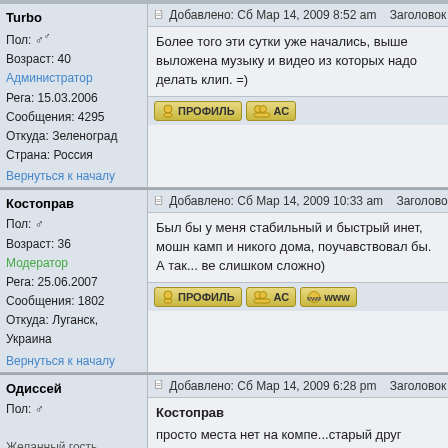Turbo
Пол: ♂ Возраст: 40
Администратор
Рега: 15.03.2006
Сообщения: 4295
Откуда: Зеленоград
Страна: Россия
Добавлено: Сб Мар 14, 2009 8:52 am   Заголовок сообщ
Более того эти сутки уже начались, выше выложена музыку и видео из которых надо делать клип. =)
Вернуться к началу
Костоправ
Пол: ♂ Возраст: 36
Модератор
Рега: 25.06.2007
Сообщения: 1802
Откуда: Луганск, Украина
Добавлено: Сб Мар 14, 2009 10:33 am   Заголовок сооб
Был бы у меня стабильный и быстрый инет, мошн камп и никого дома, поучавствовал бы. А так... ве слишком сложно)
Вернуться к началу
Одиссей
Пол: ♂
Желанный гость
Рега: 25.08.2007
Сообщения: 573
Добавлено: Сб Мар 14, 2009 6:28 pm   Заголовок сообщ
Костоправ
просто места нет на компе...старый друг вмещает 80 гигов...
http://f1kniga.ru/